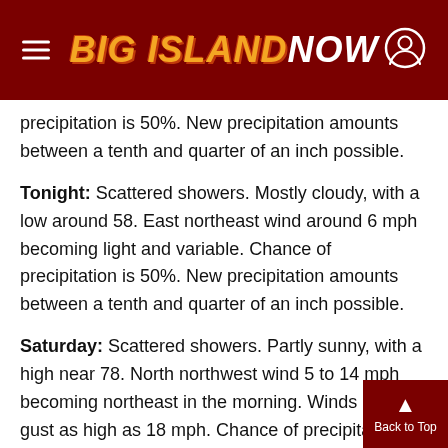Big Island Now
precipitation is 50%. New precipitation amounts between a tenth and quarter of an inch possible.
Tonight: Scattered showers. Mostly cloudy, with a low around 58. East northeast wind around 6 mph becoming light and variable. Chance of precipitation is 50%. New precipitation amounts between a tenth and quarter of an inch possible.
Saturday: Scattered showers. Partly sunny, with a high near 78. North northwest wind 5 to 14 mph becoming northeast in the morning. Winds could gust as high as 18 mph. Chance of precipitation is 5…  New precipitation amounts between a tenth an…